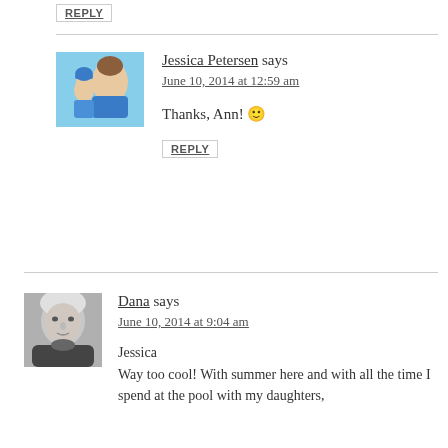REPLY
Jessica Petersen says
June 10, 2014 at 12:59 am
Thanks, Ann! 🙂
REPLY
Dana says
June 10, 2014 at 9:04 am
Jessica
Way too cool! With summer here and with all the time I spend at the pool with my daughters,